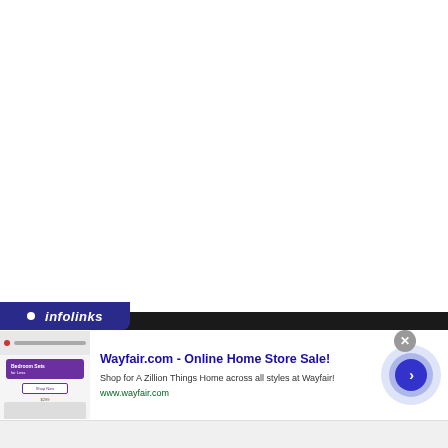[Figure (screenshot): White blank area occupying the upper two-thirds of the page]
[Figure (screenshot): Infolinks advertisement banner at bottom. Contains Wayfair.com ad with title 'Wayfair.com - Online Home Store Sale!', description 'Shop for A Zillion Things Home across all styles at Wayfair!', URL 'www.wayfair.com', a thumbnail image showing bedroom furniture sale, and a circular blue arrow button. Has infolinks logo in dark bar at top and a close button.]